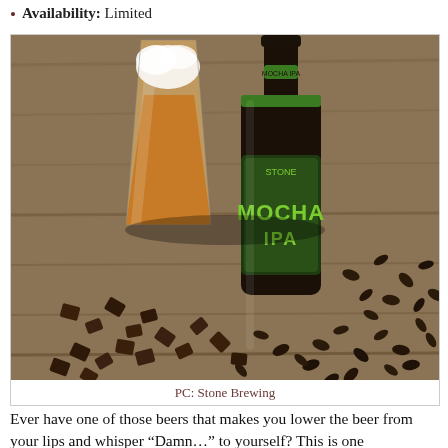Availability: Limited
[Figure (photo): A bottle of Stone Mocha IPA beer next to a pint glass filled with amber beer, surrounded by chocolate pieces and coffee beans on a wooden surface.]
PC: Stone Brewing
Ever have one of those beers that makes you lower the beer from your lips and whisper "Damn…" to yourself? This is one